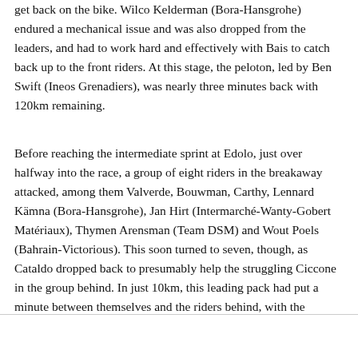get back on the bike. Wilco Kelderman (Bora-Hansgrohe) endured a mechanical issue and was also dropped from the leaders, and had to work hard and effectively with Bais to catch back up to the front riders. At this stage, the peloton, led by Ben Swift (Ineos Grenadiers), was nearly three minutes back with 120km remaining.
Before reaching the intermediate sprint at Edolo, just over halfway into the race, a group of eight riders in the breakaway attacked, among them Valverde, Bouwman, Carthy, Lennard Kämna (Bora-Hansgrohe), Jan Hirt (Intermarché-Wanty-Gobert Matériaux), Thymen Arensman (Team DSM) and Wout Poels (Bahrain-Victorious). This soon turned to seven, though, as Cataldo dropped back to presumably help the struggling Ciccone in the group behind. In just 10km, this leading pack had put a minute between themselves and the riders behind, with the